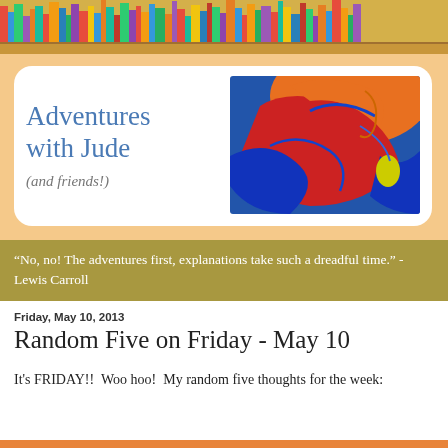[Figure (illustration): Bookshelf banner with colorful books at the top of the blog header]
[Figure (illustration): Blog logo card with 'Adventures with Jude (and friends!)' text and a colorful abstract painting of a fish/figure in orange, red, and blue tones]
“No, no! The adventures first, explanations take such a dreadful time.” -Lewis Carroll
Friday, May 10, 2013
Random Five on Friday - May 10
It's FRIDAY!!  Woo hoo!  My random five thoughts for the week: